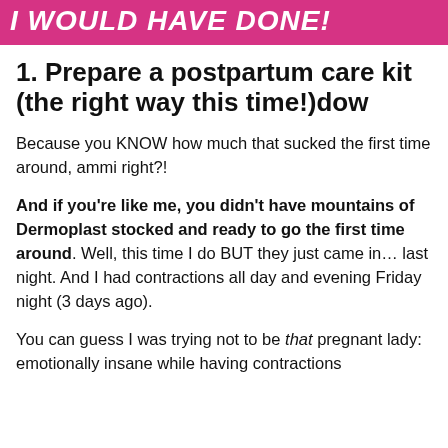I WOULD HAVE DONE!
1. Prepare a postpartum care kit (the right way this time!)dow
Because you KNOW how much that sucked the first time around, ammi right?!
And if you're like me, you didn't have mountains of Dermoplast stocked and ready to go the first time around. Well, this time I do BUT they just came in… last night. And I had contractions all day and evening Friday night (3 days ago).
You can guess I was trying not to be that pregnant lady: emotionally insane while having contractions